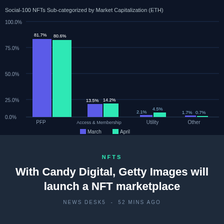[Figure (grouped-bar-chart): Social-100 NFTs Sub-categorized by Market Capitalization (ETH)]
NFTS
With Candy Digital, Getty Images will launch a NFT marketplace
NEWS DESK5 - 52 MINS AGO